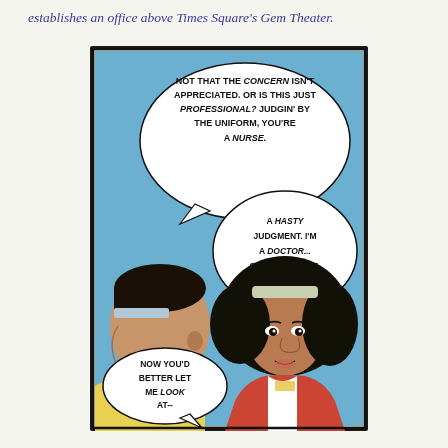establishes an office above Times Square's Gem Theater.
[Figure (illustration): A vintage comic book panel showing two characters in conversation. On the left is a man seen in profile wearing a yellow shirt. On the right is a woman with a large afro hairstyle wearing a red jacket over a white shirt. The background is blue. Speech bubbles read: 'NOT THAT THE CONCERN ISN'T APPRECIATED. OR IS THIS JUST PROFESSIONAL? JUDGIN' BY THE UNIFORM, YOU'RE A NURSE.' and 'A HASTY JUDGMENT. I'M A DOCTOR... CLAIRE TEMPLE.' and 'NOW YOU'D BETTER LET ME LOOK AT--']